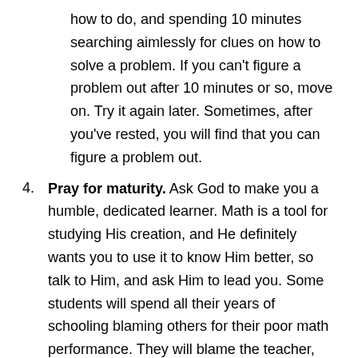how to do, and spending 10 minutes searching aimlessly for clues on how to solve a problem. If you can't figure a problem out after 10 minutes or so, move on. Try it again later. Sometimes, after you've rested, you will find that you can figure a problem out.
4. Pray for maturity. Ask God to make you a humble, dedicated learner. Math is a tool for studying His creation, and He definitely wants you to use it to know Him better, so talk to Him, and ask Him to lead you. Some students will spend all their years of schooling blaming others for their poor math performance. They will blame the teacher, the textbook, their parents, everything but themselves. If that is you, well, most likely, the main problem is you. Ask God to show you how to have a grateful attitude for the gift of education. Ask Him to help you know